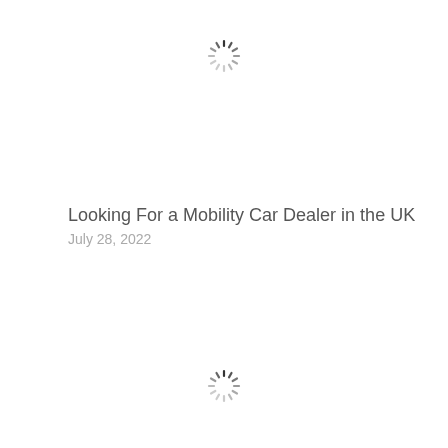[Figure (other): Loading spinner icon (circular dashed spokes) centered near top of page]
Looking For a Mobility Car Dealer in the UK
July 28, 2022
[Figure (other): Loading spinner icon (circular dashed spokes) centered near bottom of page]